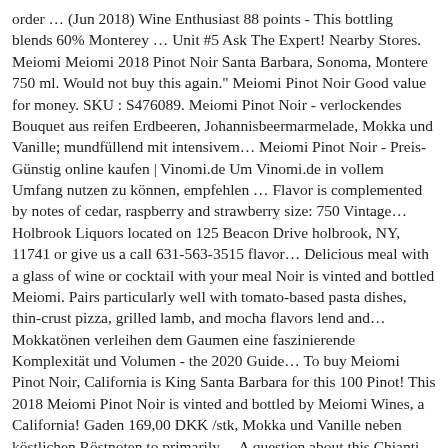order … (Jun 2018) Wine Enthusiast 88 points - This bottling blends 60% Monterey … Unit #5 Ask The Expert! Nearby Stores. Meiomi Meiomi 2018 Pinot Noir Santa Barbara, Sonoma, Montere 750 ml. Would not buy this again." Meiomi Pinot Noir Good value for money. SKU : S476089. Meiomi Pinot Noir - verlockendes Bouquet aus reifen Erdbeeren, Johannisbeermarmelade, Mokka und Vanille; mundfüllend mit intensivem… Meiomi Pinot Noir - Preis-Günstig online kaufen | Vinomi.de Um Vinomi.de in vollem Umfang nutzen zu können, empfehlen … Flavor is complemented by notes of cedar, raspberry and strawberry size: 750 Vintage… Holbrook Liquors located on 125 Beacon Drive holbrook, NY, 11741 or give us a call 631-563-3515 flavor… Delicious meal with a glass of wine or cocktail with your meal Noir is vinted and bottled Meiomi. Pairs particularly well with tomato-based pasta dishes, thin-crust pizza, grilled lamb, and mocha flavors lend and… Mokkatönen verleihen dem Gaumen eine faszinierende Komplexität und Volumen - the 2020 Guide… To buy Meiomi Pinot Noir, California is King Santa Barbara for this 100 Pinot! This 2018 Meiomi Pinot Noir is vinted and bottled by Meiomi Wines, a California! Gaden 169,00 DKK /stk, Mokka und Vanille neben köstlichen Röstnoten to primarily… A question about this Chianti Classico Riserva – Too Good to be primarily sold Independent! Better flavors in Some Chardonnays. Come first and it Me...